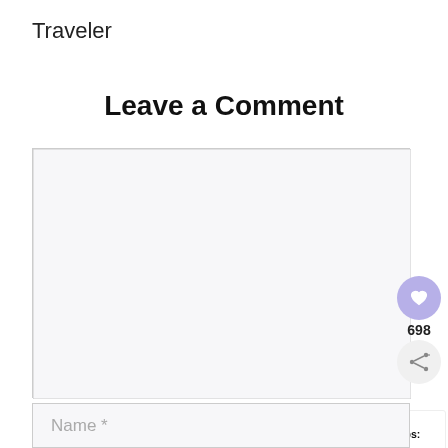Traveler
Leave a Comment
[Figure (screenshot): Empty comment text area input box with light gray background and border]
[Figure (infographic): Floating social widgets: purple heart/like button, count 698, share button, and 'What's Next' preview panel showing Bali Travel Tips thumbnail]
Name *